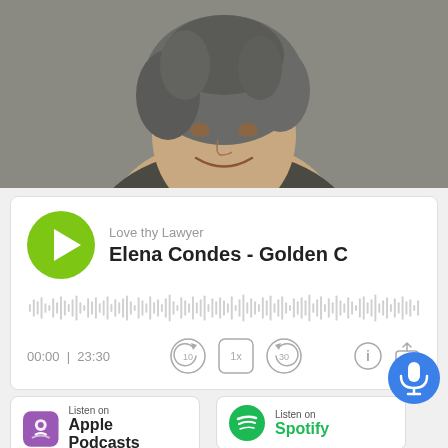[Figure (photo): Professional headshot of Elena Condes, a woman with curly gray hair wearing a dark blazer, smiling against a gray background]
[Figure (screenshot): Podcast player widget showing 'Love thy Lawyer' podcast episode 'Elena Condes - Golden C' with play button, waveform, time display 00:00 | 23:30, playback controls (skip back 10, 1x speed, skip forward 30), and action icons]
[Figure (logo): Listen on Apple Podcasts badge]
[Figure (logo): Listen on Spotify badge]